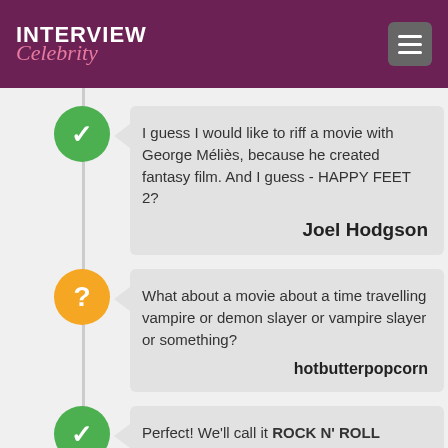INTERVIEW Celebrity
I guess I would like to riff a movie with George Méliès, because he created fantasy film. And I guess - HAPPY FEET 2?
Joel Hodgson
What about a movie about a time travelling vampire or demon slayer or vampire slayer or something?
hotbutterpopcorn
Perfect! We'll call it ROCK N' ROLL DEMONSLAYER: TIME TRAVEL VAMPIRE! It writes itself!